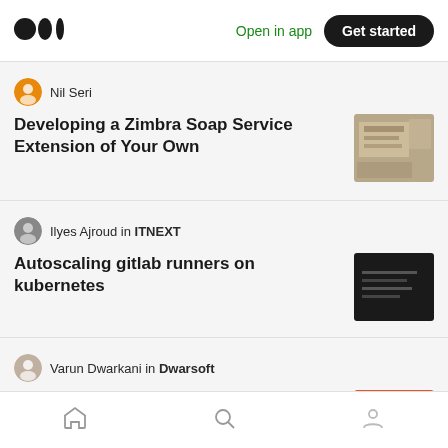Medium logo | Open in app | Get started
Nil Seri
Developing a Zimbra Soap Service Extension of Your Own
Ilyes Ajroud in ITNEXT
Autoscaling gitlab runners on kubernetes
Varun Dwarkani in Dwarsoft
Git For Beginners | Part II — Working With Basic Git Commands
Anton Ivanopoulos
Home | Search | Profile